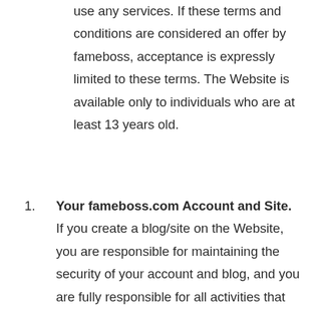use any services. If these terms and conditions are considered an offer by fameboss, acceptance is expressly limited to these terms. The Website is available only to individuals who are at least 13 years old.
1. Your fameboss.com Account and Site. If you create a blog/site on the Website, you are responsible for maintaining the security of your account and blog, and you are fully responsible for all activities that occur under the account and